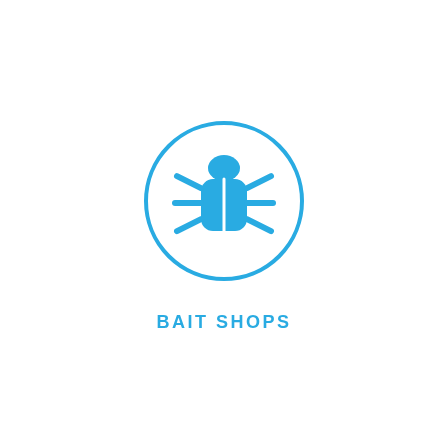[Figure (illustration): A blue outline circle containing a blue bug/beetle icon representing bait shops]
BAIT SHOPS